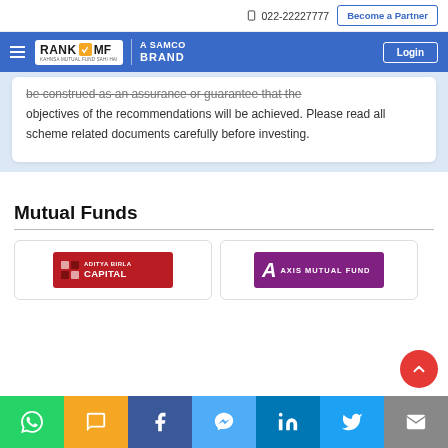022-22227777 | Become a Partner
[Figure (logo): RankMF - A Samco Brand logo with hamburger menu and Login button on blue nav bar]
be construed as an assurance or guarantee that the objectives of the recommendations will be achieved. Please read all scheme related documents carefully before investing.
Mutual Funds
[Figure (logo): Aditya Birla Capital mutual fund logo - red background with white text]
[Figure (logo): Axis Mutual Fund logo - purple background with white text and A icon]